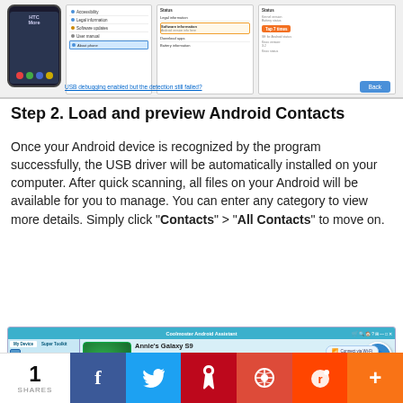[Figure (screenshot): USB debugging and software information screens on Android device with Back button]
Step 2. Load and preview Android Contacts
Once your Android device is recognized by the program successfully, the USB driver will be automatically installed on your computer. After quick scanning, all files on your Android will be available for you to manage. You can enter any category to view more details. Simply click "Contacts" > "All Contacts" to move on.
[Figure (screenshot): Coolmuster Android Assistant showing Annie's Galaxy S9 device with Home, Apps, and Contacts in sidebar]